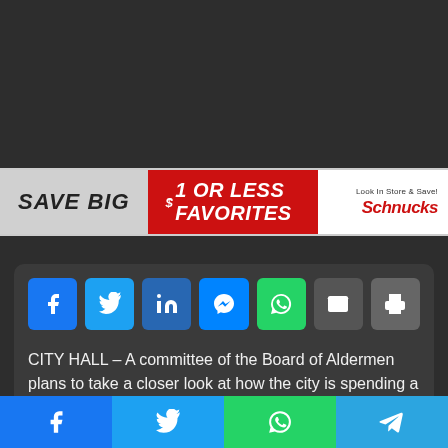[Figure (other): Dark gray background area at top of page]
[Figure (other): Advertisement banner: SAVE BIG $1 OR LESS FAVORITES with Schnucks logo and tagline 'Look In Store & Save!']
[Figure (other): Social share buttons: Facebook, Twitter, LinkedIn, Messenger, WhatsApp, Email, Print]
CITY HALL – A committee of the Board of Aldermen plans to take a closer look at how the city is spending a fund designed
[Figure (other): Bottom bar with social share buttons: Facebook, Twitter, WhatsApp, Telegram]